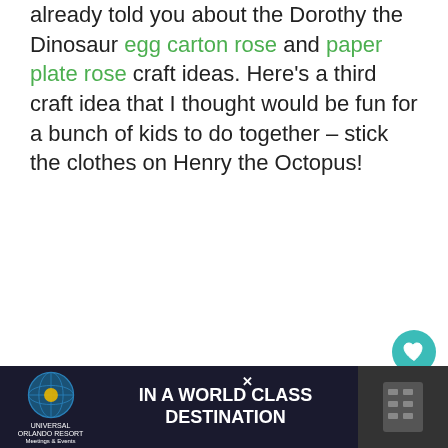already told you about the Dorothy the Dinosaur egg carton rose and paper plate rose craft ideas. Here's a third craft idea that I thought would be fun for a bunch of kids to do together – stick the clothes on Henry the Octopus!
[Figure (other): Heart (favorite) button - teal circular button with heart icon]
[Figure (other): Share button - white circular button with share icon]
[Figure (other): Universal Orlando Resort advertisement banner - dark background with globe logo, 'IN A WORLD CLASS DESTINATION' text]